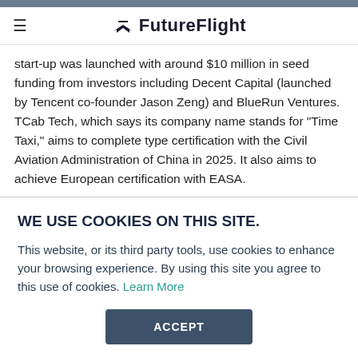FutureFlight
start-up was launched with around $10 million in seed funding from investors including Decent Capital (launched by Tencent co-founder Jason Zeng) and BlueRun Ventures. TCab Tech, which says its company name stands for "Time Taxi," aims to complete type certification with the Civil Aviation Administration of China in 2025. It also aims to achieve European certification with EASA.
WE USE COOKIES ON THIS SITE.
This website, or its third party tools, use cookies to enhance your browsing experience. By using this site you agree to this use of cookies. Learn More
ACCEPT